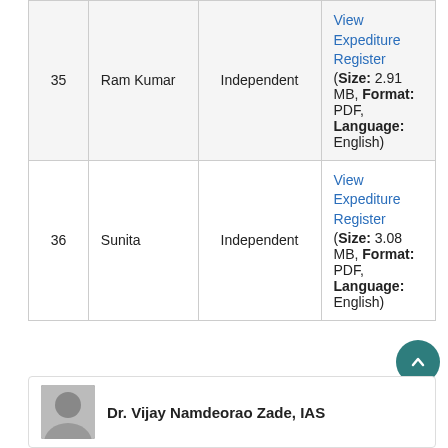|  | Name | Party | Expenditure Register |
| --- | --- | --- | --- |
| 35 | Ram Kumar | Independent | View Expenditure Register (Size: 2.91 MB, Format: PDF, Language: English) |
| 36 | Sunita | Independent | View Expenditure Register (Size: 3.08 MB, Format: PDF, Language: English) |
Dr. Vijay Namdeorao Zade, IAS